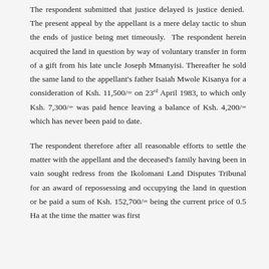The respondent submitted that justice delayed is justice denied. The present appeal by the appellant is a mere delay tactic to shun the ends of justice being met timeously. The respondent herein acquired the land in question by way of voluntary transfer in form of a gift from his late uncle Joseph Mmanyisi. Thereafter he sold the same land to the appellant's father Isaiah Mwole Kisanya for a consideration of Ksh. 11,500/= on 23rd April 1983, to which only Ksh. 7,300/= was paid hence leaving a balance of Ksh. 4,200/= which has never been paid to date.
The respondent therefore after all reasonable efforts to settle the matter with the appellant and the deceased's family having been in vain sought redress from the Ikolomani Land Disputes Tribunal for an award of repossessing and occupying the land in question or be paid a sum of Ksh. 152,700/= being the current price of 0.5 Ha at the time the matter was first